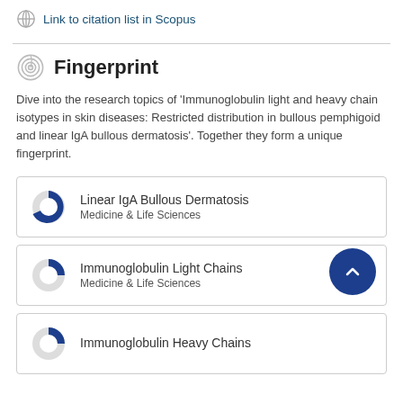Link to citation list in Scopus
Fingerprint
Dive into the research topics of 'Immunoglobulin light and heavy chain isotypes in skin diseases: Restricted distribution in bullous pemphigoid and linear IgA bullous dermatosis'. Together they form a unique fingerprint.
Linear IgA Bullous Dermatosis — Medicine & Life Sciences
Immunoglobulin Light Chains — Medicine & Life Sciences
Immunoglobulin Heavy Chains